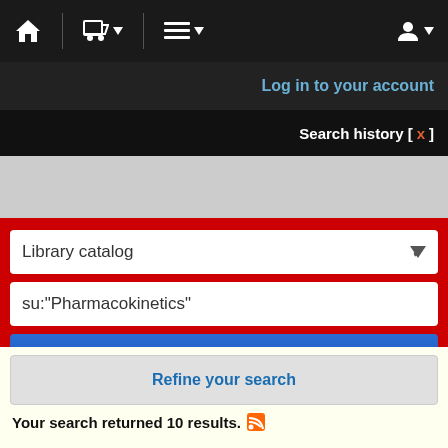[Figure (screenshot): Top navigation bar with home icon, cart icon with dropdown caret, menu icon with dropdown caret, and user icon with dropdown caret on dark background]
Log in to your account
Search history [ x ]
[Figure (screenshot): Library catalog search interface with red background, dropdown selector showing 'Library catalog', search field with 'su:"Pharmacokinetics"', and blue Go button]
Advanced search | Tag cloud | Most popular
Refine your search
Your search returned 10 results.